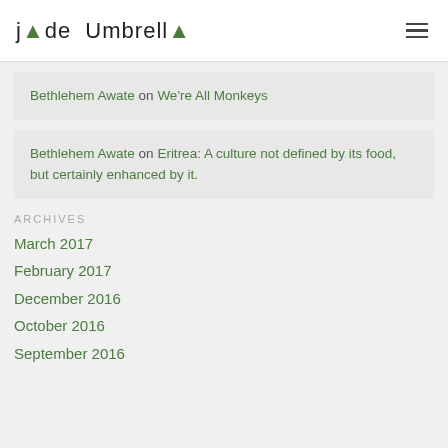Jade Umbrella
Bethlehem Awate on We're All Monkeys
Bethlehem Awate on Eritrea: A culture not defined by its food, but certainly enhanced by it.
ARCHIVES
March 2017
February 2017
December 2016
October 2016
September 2016